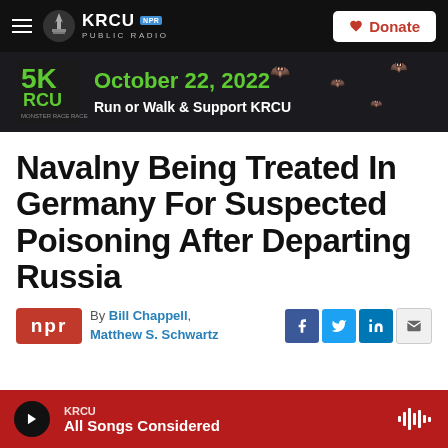KRCU NPR PUBLIC RADIO | Donate
[Figure (infographic): 5K RCU Monster Race banner ad — October 22, 2022 Run or Walk & Support KRCU]
Navalny Being Treated In Germany For Suspected Poisoning After Departing Russia
By Bill Chappell, Matthew S. Schwartz
KRCU — All Songs Considered (player bar)